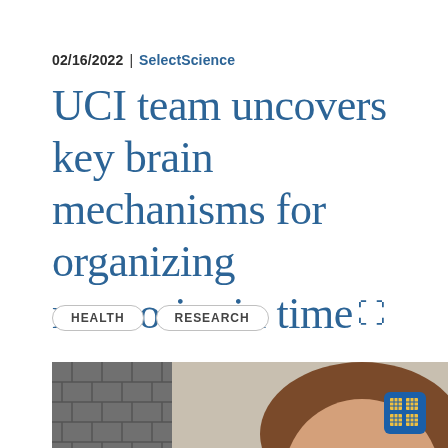02/16/2022 | SelectScience
UCI team uncovers key brain mechanisms for organizing memories in time ↗
HEALTH
RESEARCH
[Figure (photo): A woman with brown hair in front of a tiled wall, with handwritten chemistry/math equations visible on a whiteboard behind her.]